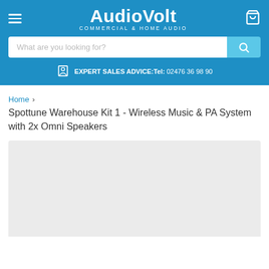[Figure (logo): AudioVolt logo with text 'COMMERCIAL & HOME AUDIO' on blue header background]
What are you looking for?
EXPERT SALES ADVICE: Tel: 02476 36 98 90
Home > Spottune Warehouse Kit 1 - Wireless Music & PA System with 2x Omni Speakers
[Figure (photo): Light grey placeholder image area for product photo]